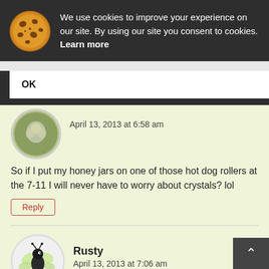We use cookies to improve your experience on our site. By using our site you consent to cookies. Learn more
OK
April 13, 2013 at 6:58 am
So if I put my honey jars on one of those hot dog rollers at the 7-11 I will never have to worry about crystals? lol
Reply
Rusty
April 13, 2013 at 7:06 am
You got it.
Reply